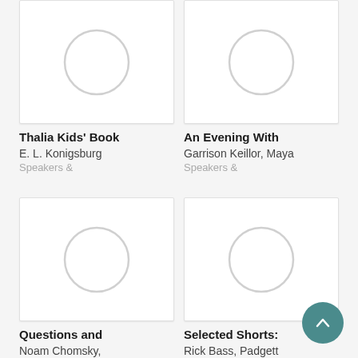[Figure (illustration): Placeholder image with circle outline for Thalia Kids' Book]
Thalia Kids' Book
E. L. Konigsburg
Speakers &
[Figure (illustration): Placeholder image with circle outline for An Evening With]
An Evening With
Garrison Keillor, Maya
Speakers &
[Figure (illustration): Placeholder image with circle outline for Questions and]
Questions and
Noam Chomsky,
Speakers &
[Figure (illustration): Placeholder image with circle outline for Selected Shorts]
Selected Shorts:
Rick Bass, Padgett
Speakers &